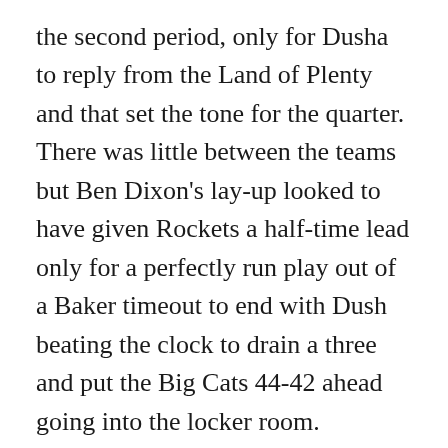the second period, only for Dusha to reply from the Land of Plenty and that set the tone for the quarter. There was little between the teams but Ben Dixon's lay-up looked to have given Rockets a half-time lead only for a perfectly run play out of a Baker timeout to end with Dush beating the clock to drain a three and put the Big Cats 44-42 ahead going into the locker room. A bizarre set of refereeing decisions at the start of the second half saw Dusha called for an intentional foul after an initial jump ball call and Jackman collect his fourth foul after driving to the basket leaving him one foul away from disqualification with 19 minutes of regulation